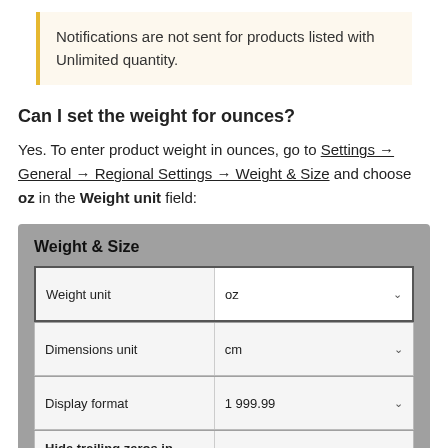Notifications are not sent for products listed with Unlimited quantity.
Can I set the weight for ounces?
Yes. To enter product weight in ounces, go to Settings → General → Regional Settings → Weight & Size and choose oz in the Weight unit field:
[Figure (screenshot): Screenshot of Weight & Size settings panel showing Weight unit set to oz, Dimensions unit set to cm, Display format set to 1 999.99, and Hide trailing zeros in fractional part set to Disabled with an Enable link.]